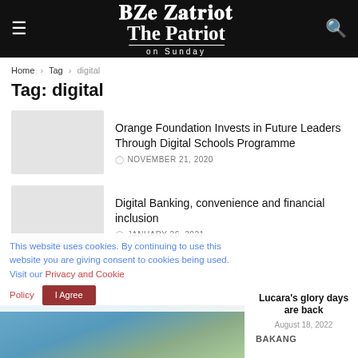The Patriot on Sunday
Home > Tag > digital
Tag: digital
Orange Foundation Invests in Future Leaders Through Digital Schools Programme
NOVEMBER 21, 2020
Digital Banking, convenience and financial inclusion
JANUARY 26, 2021
This website uses cookies. By continuing to use this website you are giving consent to cookies being used. Visit our Privacy and Cookie Policy   I Agree
Lucara's glory days are back
August 18, 2022
BAKANG